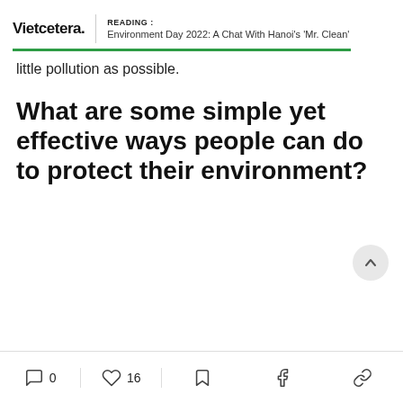READING : Environment Day 2022: A Chat With Hanoi's 'Mr. Clean'
little pollution as possible.
What are some simple yet effective ways people can do to protect their environment?